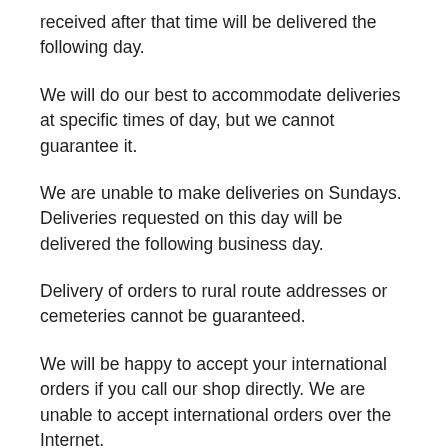received after that time will be delivered the following day.
We will do our best to accommodate deliveries at specific times of day, but we cannot guarantee it.
We are unable to make deliveries on Sundays. Deliveries requested on this day will be delivered the following business day.
Delivery of orders to rural route addresses or cemeteries cannot be guaranteed.
We will be happy to accept your international orders if you call our shop directly. We are unable to accept international orders over the Internet.
Substitution Policy